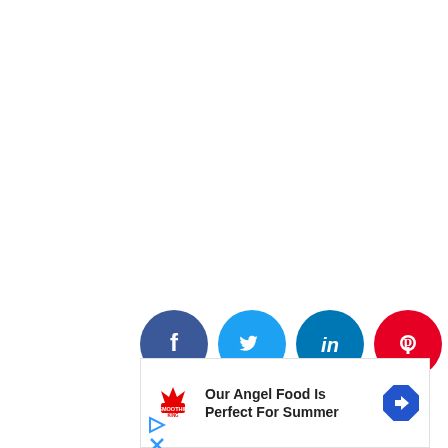[Figure (infographic): Row of 5 social media share icons (partially cropped): Facebook (dark blue), Twitter (light blue), LinkedIn (blue), Pinterest (red), WhatsApp (green), each as a circle with white logo inside.]
[Figure (infographic): Advertisement banner for Smoothie King: logo on the left, text 'Our Angel Food Is Perfect For Summer' in the center, blue diamond-shaped arrow icon on the right.]